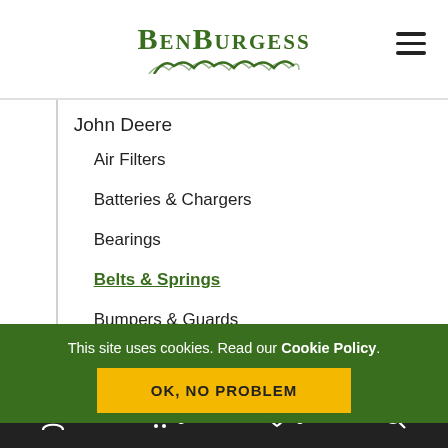BenBurgess
John Deere
Air Filters
Batteries & Chargers
Bearings
Belts & Springs
Bumpers & Guards
This site uses cookies. Read our Cookie Policy.
OK, NO PROBLEM
0  0